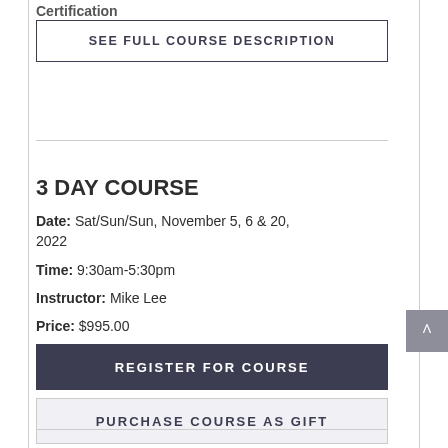Certification
SEE FULL COURSE DESCRIPTION
3 DAY COURSE
Date: Sat/Sun/Sun, November 5, 6 & 20, 2022
Time: 9:30am-5:30pm
Instructor: Mike Lee
Price: $995.00
REGISTER FOR COURSE
PURCHASE COURSE AS GIFT